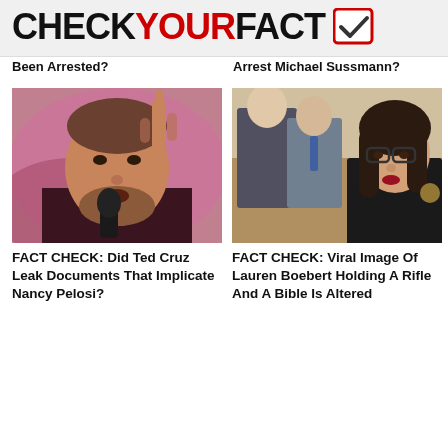CHECKYOURFACT
Been Arrested?
Arrest Michael Sussmann?
[Figure (photo): Photo of Ted Cruz raising his index finger and speaking at a microphone, wearing a dark suit jacket, pink/magenta background.]
[Figure (photo): Photo of Lauren Boebert wearing glasses and a black outfit, standing in what appears to be a legislative chamber, with suited men in background.]
FACT CHECK: Did Ted Cruz Leak Documents That Implicate Nancy Pelosi?
FACT CHECK: Viral Image Of Lauren Boebert Holding A Rifle And A Bible Is Altered